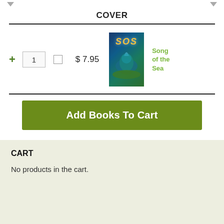COVER
+ 1  $ 7.95
[Figure (illustration): Book cover for 'Song of the Sea' showing 'SOS' text on a blue/green ocean-themed background]
Song of the Sea
Add Books To Cart
CART
No products in the cart.